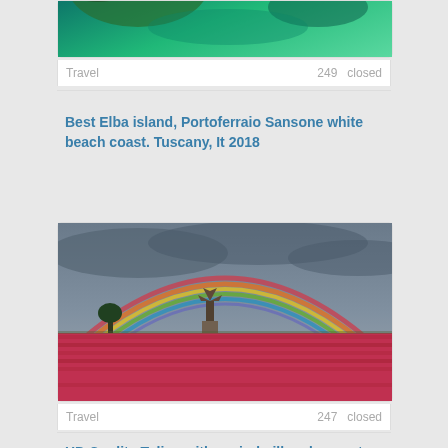[Figure (photo): Partial aerial or coastal view of Elba island with turquoise water and rocky coastline]
Travel    249    closed
Best Elba island, Portoferraio Sansone white beach coast. Tuscany, It 2018
[Figure (photo): Tulip field with a windmill and a rainbow over a cloudy sky in the Netherlands]
Travel    247    closed
HD Quality Tulips with a windmill and a great rainbow in the